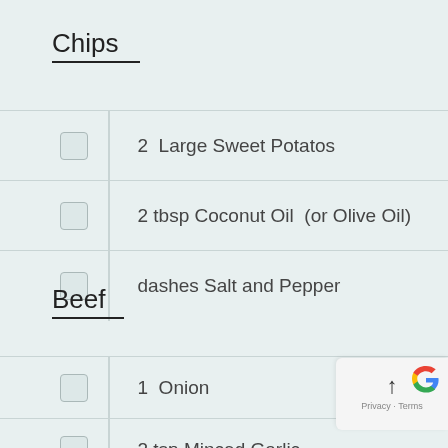Chips
2  Large Sweet Potatos
2 tbsp Coconut Oil  (or Olive Oil)
dashes Salt and Pepper
Beef
1  Onion
2 tsp Minced Garlic
2 tsp Minced Ginger
1/2 tsp Chili Paste